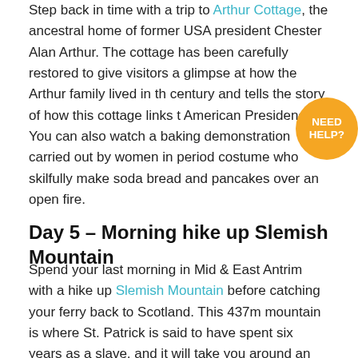Step back in time with a trip to Arthur Cottage, the ancestral home of former USA president Chester Alan Arthur. The cottage has been carefully restored to give visitors a glimpse at how the Arthur family lived in the century and tells the story of how this cottage links the American Presidency. You can also watch a baking demonstration carried out by women in period costume who skilfully make soda bread and pancakes over an open fire.
Day 5 – Morning hike up Slemish Mountain
Spend your last morning in Mid & East Antrim with a hike up Slemish Mountain before catching your ferry back to Scotland. This 437m mountain is where St. Patrick is said to have spent six years as a slave, and it will take you around an hour to walk up to the summit and back. Plus,